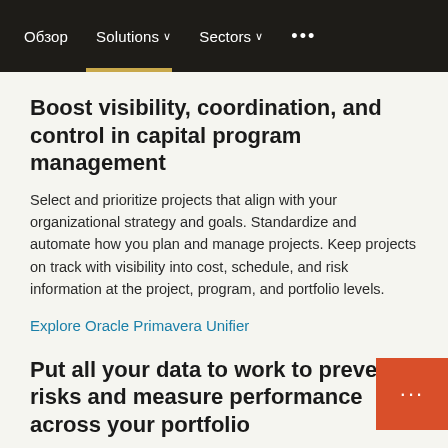Обзор   Solutions ∨   Sectors ∨   •••
Boost visibility, coordination, and control in capital program management
Select and prioritize projects that align with your organizational strategy and goals. Standardize and automate how you plan and manage projects. Keep projects on track with visibility into cost, schedule, and risk information at the project, program, and portfolio levels.
Explore Oracle Primavera Unifier
Put all your data to work to prevent risks and measure performance across your portfolio
Confidently track and report on forecasts versus ac…